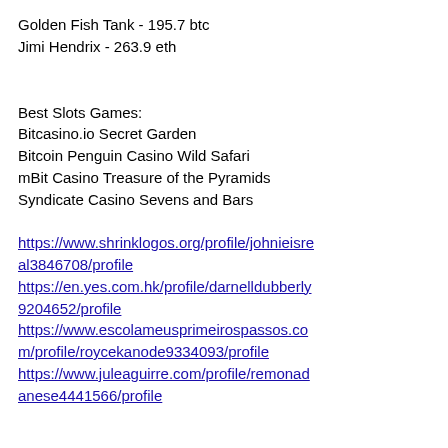Golden Fish Tank - 195.7 btc
Jimi Hendrix - 263.9 eth
Best Slots Games:
Bitcasino.io Secret Garden
Bitcoin Penguin Casino Wild Safari
mBit Casino Treasure of the Pyramids
Syndicate Casino Sevens and Bars
https://www.shrinklogos.org/profile/johnieisreal3846708/profile
https://en.yes.com.hk/profile/darnelldubberly9204652/profile
https://www.escolameusprimeirospassos.com/profile/roycekanode9334093/profile
https://www.juleaguirre.com/profile/remonadanese4441566/profile